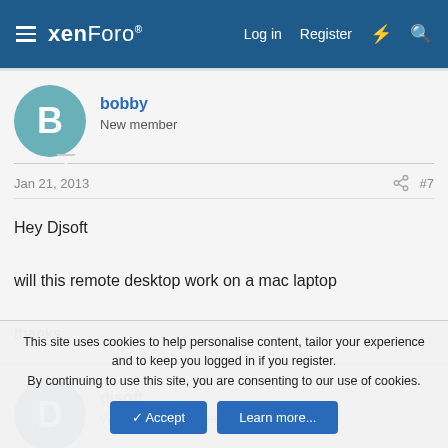xenForo — Log in   Register
bobby
New member
Jan 21, 2013  #7
Hey Djsoft

will this remote desktop work on a mac laptop

thanks
djsoft
Well-known member  Staff member
This site uses cookies to help personalise content, tailor your experience and to keep you logged in if you register.
By continuing to use this site, you are consenting to our use of cookies.
✓ Accept   Learn more...